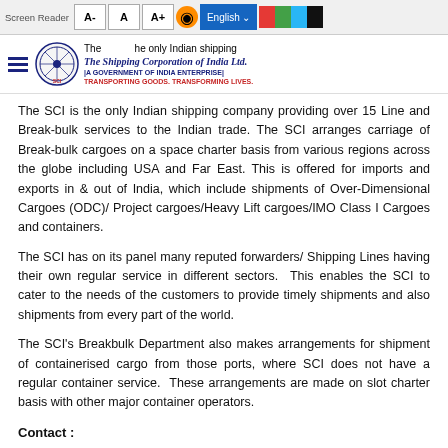Screen Reader | A- | A | A+ | [orange] | English | [color bar] | The Shipping Corporation of India Ltd. | A GOVERNMENT OF INDIA ENTERPRISE | TRANSPORTING GOODS. TRANSFORMING LIVES.
The SCI is the only Indian shipping company providing over 15 Line and Break-bulk services to the Indian trade. The SCI arranges carriage of Break-bulk cargoes on a space charter basis from various regions across the globe including USA and Far East. This is offered for imports and exports in & out of India, which include shipments of Over-Dimensional Cargoes (ODC)/ Project cargoes/Heavy Lift cargoes/IMO Class I Cargoes and containers.
The SCI has on its panel many reputed forwarders/ Shipping Lines having their own regular service in different sectors. This enables the SCI to cater to the needs of the customers to provide timely shipments and also shipments from every part of the world.
The SCI's Breakbulk Department also makes arrangements for shipment of containerised cargo from those ports, where SCI does not have a regular container service. These arrangements are made on slot charter basis with other major container operators.
Contact :
PIC : Mrs. Gauri Singh, Chief Manager